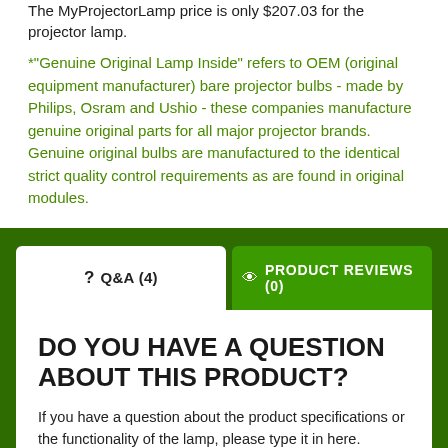The MyProjectorLamp price is only $207.03 for the projector lamp.
*"Genuine Original Lamp Inside" refers to OEM (original equipment manufacturer) bare projector bulbs - made by Philips, Osram and Ushio - these companies manufacture genuine original parts for all major projector brands. Genuine original bulbs are manufactured to the identical strict quality control requirements as are found in original modules.
? Q&A (4)
PRODUCT REVIEWS (0)
DO YOU HAVE A QUESTION ABOUT THIS PRODUCT?
If you have a question about the product specifications or the functionality of the lamp, please type it in here.